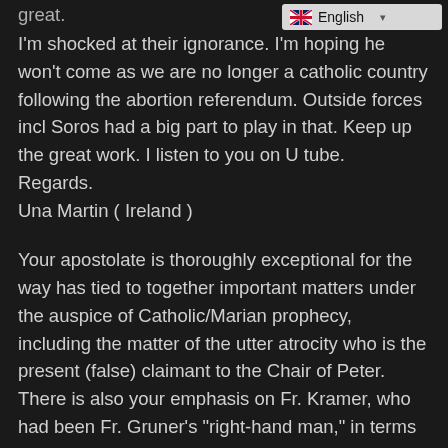[Figure (other): Language selector bar with UK flag and 'English' label and dropdown arrow]
great.
I'm shocked at their ignorance. I'm hoping he won't come as we are no longer a catholic country following the abortion referendum. Outside forces incl Soros had a big part to play in that. Keep up the great work. I listen to you on U tube.
Regards.
Una Martin ( Ireland )
Your apostolate is thoroughly exceptional for the way has tied to together important matters under the auspice of Catholic/Marian prophecy, including the matter of the utter atrocity who is the present (false) claimant to the Chair of Peter. There is also your emphasis on Fr. Kramer, who had been Fr. Gruner's "right-hand man," in terms of the practical theological and canonical understanding of our times, but who,